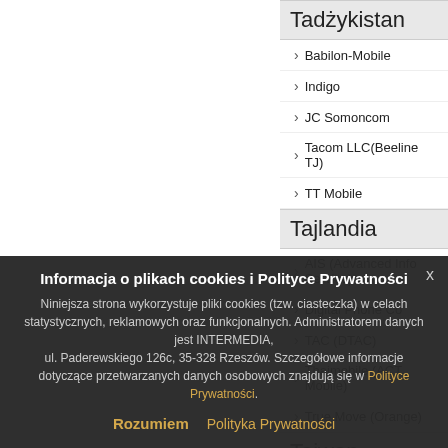Tadżykistan
Babilon-Mobile
Indigo
JC Somoncom
Tacom LLC(Beeline TJ)
TT Mobile
Tajlandia
AIS (Advanced Info Service)
Digital Phone Co
TAC (DTAC)
Thaimobile (ACT Mobile)
True Move (Orange)
Tajwan
Chunghwa Telecom
Chunghwa LBM (GSM)
Informacja o plikach cookies i Polityce Prywatności
Niniejsza strona wykorzystuje pliki cookies (tzw. ciasteczka) w celach statystycznych, reklamowych oraz funkcjonalnych. Administratorem danych jest INTERMEDIA, ul. Paderewskiego 126c, 35-328 Rzeszów. Szczegółowe informacje dotyczące przetwarzanych danych osobowych znajdują się w Polityce Prywatności.
Rozumiem | Polityka Prywatności